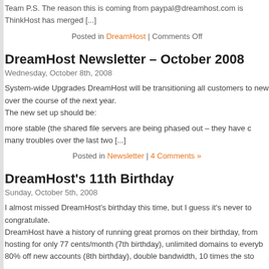Team P.S. The reason this is coming from paypal@dreamhost.com is ThinkHost has merged [...]
Posted in DreamHost | Comments Off
DreamHost Newsletter – October 2008
Wednesday, October 8th, 2008
System-wide Upgrades DreamHost will be transitioning all customers to new over the course of the next year.
The new set up should be:
more stable (the shared file servers are being phased out – they have c many troubles over the last two [...]
Posted in Newsletter | 4 Comments »
DreamHost's 11th Birthday
Sunday, October 5th, 2008
I almost missed DreamHost's birthday this time, but I guess it's never to congratulate.
DreamHost have a history of running great promos on their birthday, from hosting for only 77 cents/month (7th birthday), unlimited domains to everyb 80% off new accounts (8th birthday), double bandwidth, 10 times the sto